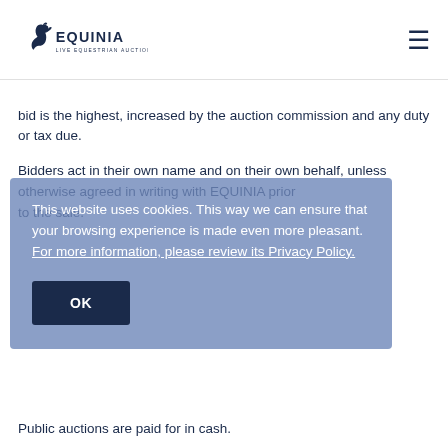EQUINIA — LIVE EQUESTRIAN AUCTIONS
bid is the highest, increased by the auction commission and any duty or tax due.
Bidders act in their own name and on their own behalf, unless otherwise agreed in writing with EQUINIA prior to the sale.
This website uses cookies. This way we can ensure that your browsing experience is made even more pleasant. For more information, please review its Privacy Policy.
OK
Public auctions are paid for in cash.